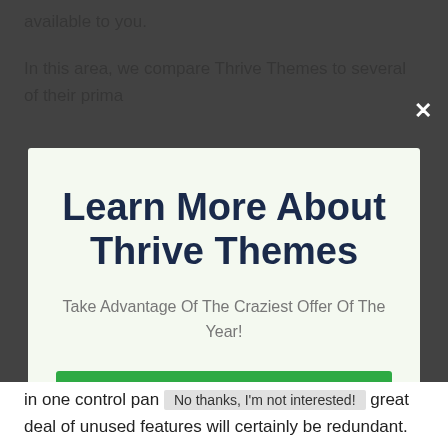available to you.
In this area, we compare Thrive Themes to several of their prima…
Learn More About Thrive Themes
Take Advantage Of The Craziest Offer Of The Year!
CHECK OUT THE OFFICIAL THRIVE SITE HERE
No thanks, I'm not interested!
…in one control pan… great deal of unused features will certainly be redundant.